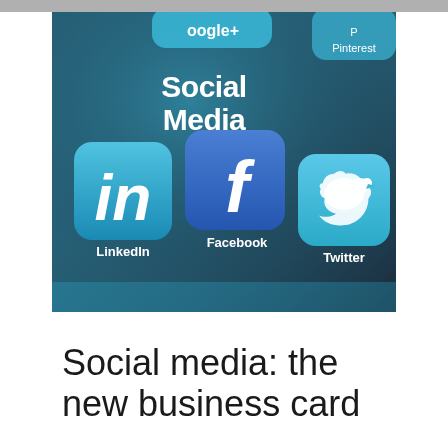[Figure (photo): A smartphone screen showing social media app icons labeled 'Social Media' in white bold text, with LinkedIn (in), Facebook (f), and Twitter (bird icon) app icons prominently displayed in blue tones, and Pinterest visible in the upper right corner. Google+ partially visible at top.]
Social media: the new business card